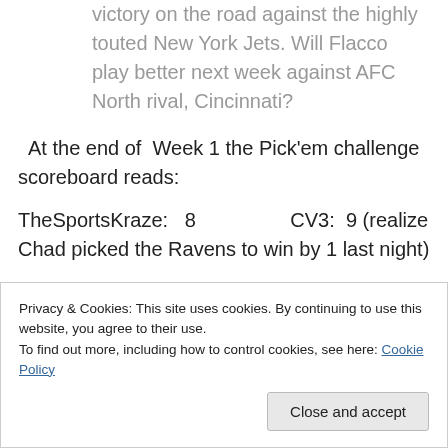victory on the road against the highly touted New York Jets. Will Flacco play better next week against AFC North rival, Cincinnati?
At the end of Week 1 the Pick'em challenge scoreboard reads:
TheSportsKraze:  8                CV3:  9 (realize Chad picked the Ravens to win by 1 last night)
Privacy & Cookies: This site uses cookies. By continuing to use this website, you agree to their use.
To find out more, including how to control cookies, see here: Cookie Policy